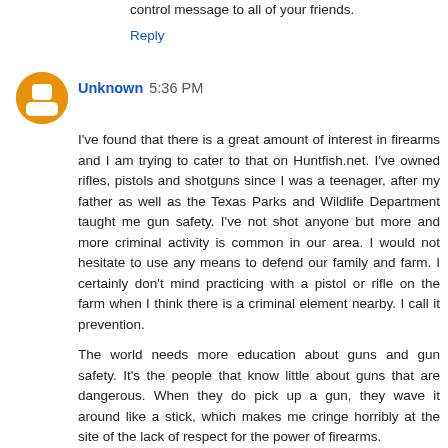control message to all of your friends.
Reply
Unknown  5:36 PM
I've found that there is a great amount of interest in firearms and I am trying to cater to that on Huntfish.net. I've owned rifles, pistols and shotguns since I was a teenager, after my father as well as the Texas Parks and Wildlife Department taught me gun safety. I've not shot anyone but more and more criminal activity is common in our area. I would not hesitate to use any means to defend our family and farm. I certainly don't mind practicing with a pistol or rifle on the farm when I think there is a criminal element nearby. I call it prevention.
The world needs more education about guns and gun safety. It's the people that know little about guns that are dangerous. When they do pick up a gun, they wave it around like a stick, which makes me cringe horribly at the site of the lack of respect for the power of firearms.